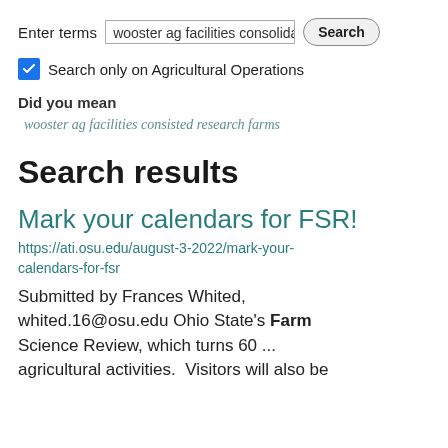Enter terms  wooster ag facilities consolida  Search
Search only on Agricultural Operations
Did you mean
wooster ag facilities consisted research farms
Search results
Mark your calendars for FSR!
https://ati.osu.edu/august-3-2022/mark-your-calendars-for-fsr
Submitted by Frances Whited, whited.16@osu.edu Ohio State's Farm Science Review, which turns 60 ... agricultural activities. Visitors will also be